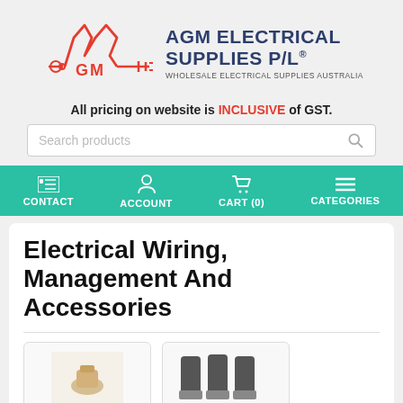[Figure (logo): AGM Electrical Supplies P/L logo with red waveform/circuit graphic and dark blue company name text, tagline: WHOLESALE ELECTRICAL SUPPLIES AUSTRALIA]
All pricing on website is INCLUSIVE of GST.
[Figure (screenshot): Search products input bar with magnifying glass icon]
[Figure (infographic): Teal navigation bar with four items: CONTACT, ACCOUNT, CART (0), CATEGORIES with icons]
Electrical Wiring, Management And Accessories
[Figure (photo): Two partial product thumbnail images at the bottom of the page]